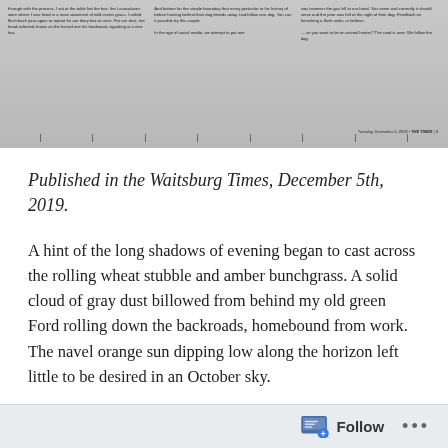[Figure (photo): A cropped photograph of a newspaper article from The Times, showing dense columns of small printed text, partially readable. The bottom of the image shows the newspaper's name and date: The Times, December 5, 2019.]
Published in the Waitsburg Times, December 5th, 2019.
A hint of the long shadows of evening began to cast across the rolling wheat stubble and amber bunchgrass. A solid cloud of gray dust billowed from behind my old green Ford rolling down the backroads, homebound from work. The navel orange sun dipping low along the horizon left little to be desired in an October sky.
About a half mile from home, a large